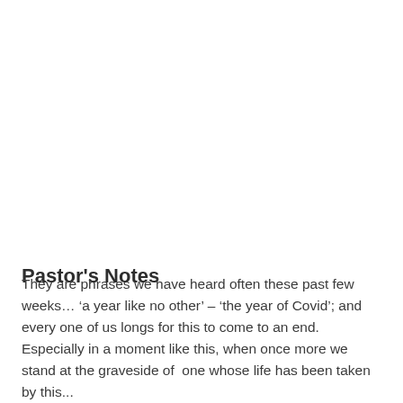Pastor's Notes
They are phrases we have heard often these past few weeks… ‘a year like no other’ – ‘the year of Covid’; and every one of us longs for this to come to an end.  Especially in a moment like this, when once more we stand at the graveside of  one whose life has been taken by this...